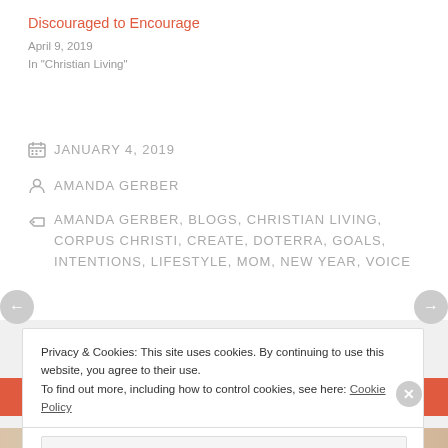Discouraged to Encourage
April 9, 2019
In "Christian Living"
JANUARY 4, 2019
AMANDA GERBER
AMANDA GERBER, BLOGS, CHRISTIAN LIVING, CORPUS CHRISTI, CREATE, DOTERRA, GOALS, INTENTIONS, LIFESTYLE, MOM, NEW YEAR, VOICE
Privacy & Cookies: This site uses cookies. By continuing to use this website, you agree to their use.
To find out more, including how to control cookies, see here: Cookie Policy
Close and accept